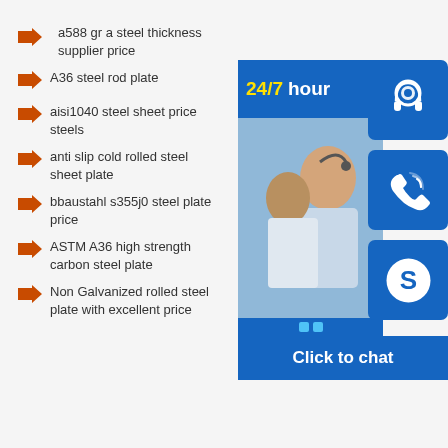a588 gr a steel thickness supplier price
A36 steel rod plate
aisi1040 steel sheet price steels
anti slip cold rolled steel sheet plate
bbaustahl s355j0 steel plate price
ASTM A36 high strength carbon steel plate
Non Galvanized rolled steel plate with excellent price
[Figure (infographic): Customer service panel with 24/7 hour banner, photo of smiling customer service representative, three blue icon buttons (headset, phone, Skype), and a 'Click to chat' button at the bottom]